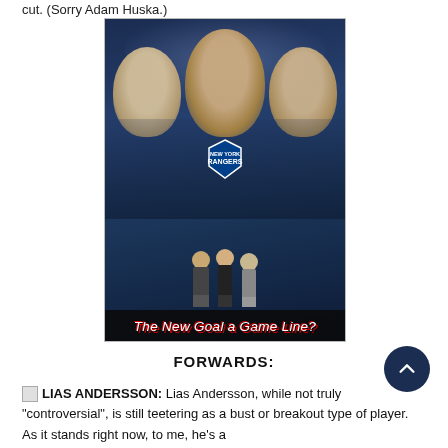cut. (Sorry Adam Huska.)
[Figure (photo): A promotional image styled like a wrestling or sports poster showing three hockey players' faces on muscular bodies, with three cartoon/bobblehead versions below them. The New York Rangers shield logo is visible in the center. Red text at the bottom reads 'The New Goal a Game Line?']
FORWARDS:
LIAS ANDERSSON: Lias Andersson, while not truly "controversial", is still teetering as a bust or breakout type of player. As it stands right now, to me, he's a